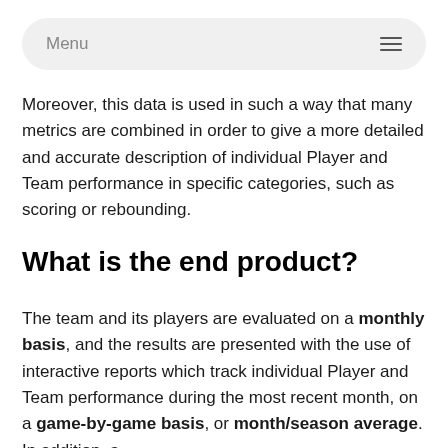Menu
Moreover, this data is used in such a way that many metrics are combined in order to give a more detailed and accurate description of individual Player and Team performance in specific categories, such as scoring or rebounding.
What is the end product?
The team and its players are evaluated on a monthly basis, and the results are presented with the use of interactive reports which track individual Player and Team performance during the most recent month, on a game-by-game basis, or month/season average. In addition, a